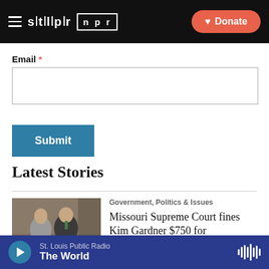STLPR | NPR | Donate
Email *
Submit
Latest Stories
[Figure (photo): Two people seated at a table reviewing documents, a woman in a grey suit and a man in a dark suit with green tie]
Government, Politics & Issues
Missouri Supreme Court fines Kim Gardner $750 for professional misconduct
St. Louis Public Radio | The World